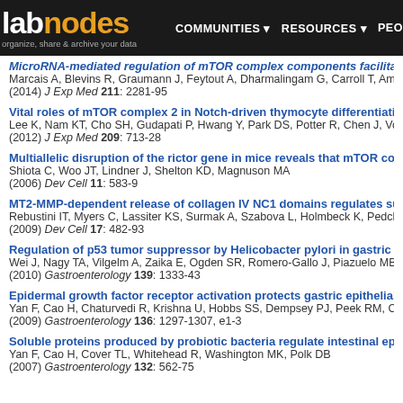labnodes — organize, share & archive your data | COMMUNITIES | RESOURCES | PEOPLE
MicroRNA-mediated regulation of mTOR complex components facilitates...
Marcais A, Blevins R, Graumann J, Feytout A, Dharmalingam G, Carroll T, Amade...
(2014) J Exp Med 211: 2281-95
Vital roles of mTOR complex 2 in Notch-driven thymocyte differentiation an...
Lee K, Nam KT, Cho SH, Gudapati P, Hwang Y, Park DS, Potter R, Chen J, Volan...
(2012) J Exp Med 209: 713-28
Multiallelic disruption of the rictor gene in mice reveals that mTOR complex...
Shiota C, Woo JT, Lindner J, Shelton KD, Magnuson MA
(2006) Dev Cell 11: 583-9
MT2-MMP-dependent release of collagen IV NC1 domains regulates subma...
Rebustini IT, Myers C, Lassiter KS, Surmak A, Szabova L, Holmbeck K, Pedche...
(2009) Dev Cell 17: 482-93
Regulation of p53 tumor suppressor by Helicobacter pylori in gastric epithe...
Wei J, Nagy TA, Vilgelm A, Zaika E, Ogden SR, Romero-Gallo J, Piazuelo MB, C...
(2010) Gastroenterology 139: 1333-43
Epidermal growth factor receptor activation protects gastric epithelial cells...
Yan F, Cao H, Chaturvedi R, Krishna U, Hobbs SS, Dempsey PJ, Peek RM, Cove...
(2009) Gastroenterology 136: 1297-1307, e1-3
Soluble proteins produced by probiotic bacteria regulate intestinal epithelia...
Yan F, Cao H, Cover TL, Whitehead R, Washington MK, Polk DB
(2007) Gastroenterology 132: 562-75